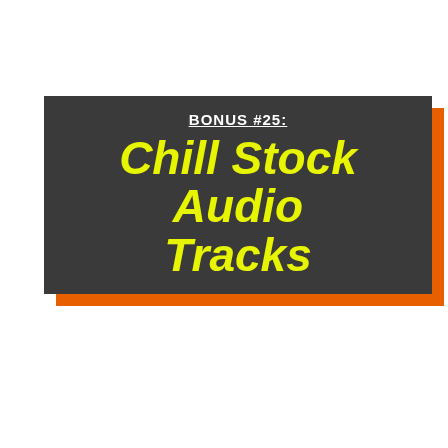BONUS #25: Chill Stock Audio Tracks
[Figure (illustration): CD/book mockup showing 'CHILL STOCK AUDIO TRACKS' product cover with a relaxing outdoor background image inside an orange-bordered frame]